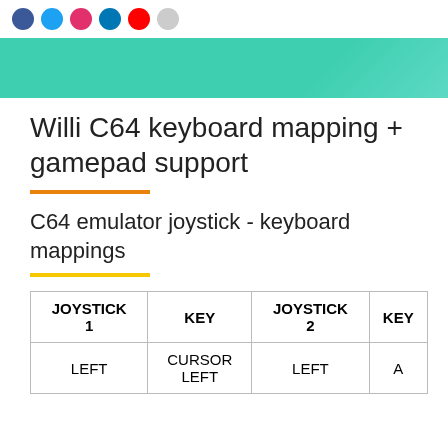[social media icons row]
Willi C64 keyboard mapping + gamepad support
C64 emulator joystick - keyboard mappings
| JOYSTICK 1 | KEY | JOYSTICK 2 | KEY |
| --- | --- | --- | --- |
| LEFT | CURSOR LEFT | LEFT | A |